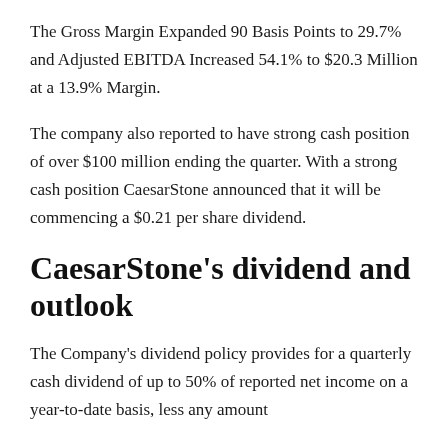The Gross Margin Expanded 90 Basis Points to 29.7% and Adjusted EBITDA Increased 54.1% to $20.3 Million at a 13.9% Margin.
The company also reported to have strong cash position of over $100 million ending the quarter. With a strong cash position CaesarStone announced that it will be commencing a $0.21 per share dividend.
CaesarStone's dividend and outlook
The Company's dividend policy provides for a quarterly cash dividend of up to 50% of reported net income on a year-to-date basis, less any amount